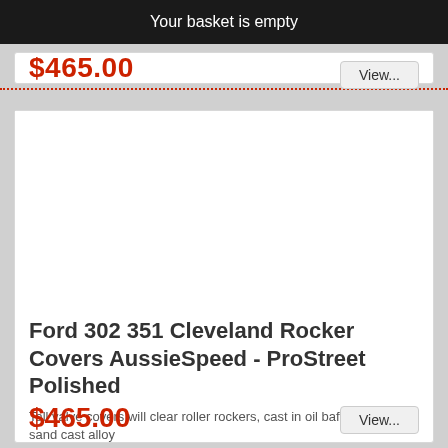Your basket is empty
$465.00
View...
[Figure (photo): Product image area — white/empty space for Ford 302 351 Cleveland Rocker Covers AussieSpeed ProStreet Polished]
Ford 302 351 Cleveland Rocker Covers AussieSpeed - ProStreet Polished
Tall valve covers will clear roller rockers, cast in oil baffles, thick sand cast alloy
$465.00
View...